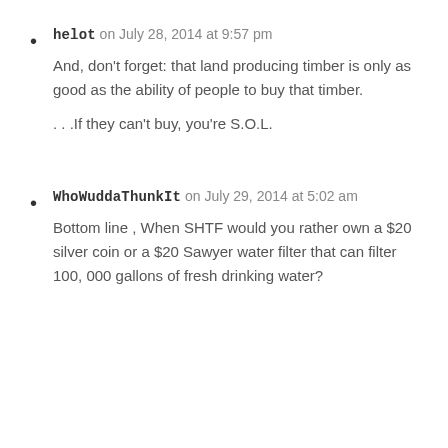helot on July 28, 2014 at 9:57 pm
And, don't forget: that land producing timber is only as good as the ability of people to buy that timber.
. . .If they can't buy, you're S.O.L.
WhoWuddaThunkIt on July 29, 2014 at 5:02 am
Bottom line , When SHTF would you rather own a $20 silver coin or a $20 Sawyer water filter that can filter 100, 000 gallons of fresh drinking water?